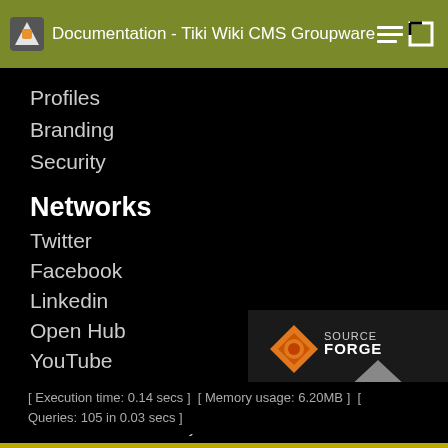Documentation - Tiki Wiki CMS Groupware
Profiles
Branding
Security
Networks
Twitter
Facebook
Linkedin
Open Hub
YouTube
Tiki® and TikiWiki® are registered trademarks of the Tiki Software Community Association.
[Figure (logo): SourceForge logo with orange diamond icon and SOURCEFORGE text, with a grey mountain/arrow shape below]
[ Execution time: 0.14 secs ]  [ Memory usage: 6.20MB ]  [ Queries: 105 in 0.03 secs ]